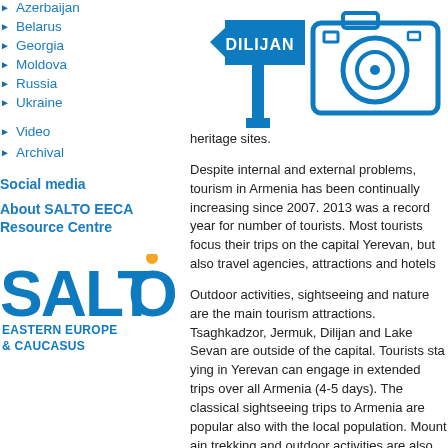Azerbaijan
Belarus
Georgia
Moldova
Russia
Ukraine
Video
Archival
Social media
About SALTO EECA Resource Centre
[Figure (illustration): Blue illustrated sign post pointing left with DILIJAN text, and a camera icon on blue background]
heritage sites.
Despite internal and external problems, tourism in Armenia has been continually increasing since 2007. 2013 was a record year for number of tourists. Most tourists focus their trips on the capital Yerevan, but also travel agencies, attractions and hotels
Outdoor activities, sightseeing and nature are the main tourism attractions. Tsaghkadzor, Jermuk, Dilijan and Lake Sevan are outside of the capital. Tourists staying in Yerevan can engage in extended trips over all Armenia (4-5 days). The classical sightseeing trips to Armenia are popular also with the local population. Mountain trekking and outdoor activities are also common.
Read more about tourism in Armenia
[Figure (logo): SALTO Eastern Europe & Caucasus logo — blue SALTO text with orange dot above O, subtitle EASTERN EUROPE & CAUCASUS in blue]